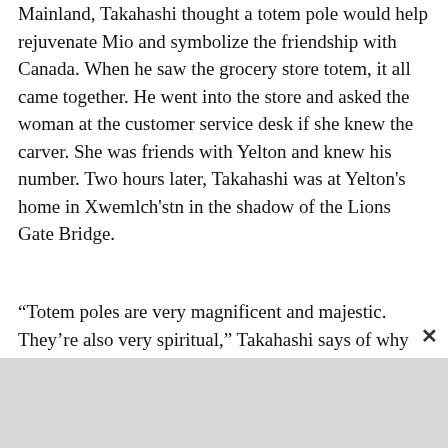Mainland, Takahashi thought a totem pole would help rejuvenate Mio and symbolize the friendship with Canada. When he saw the grocery store totem, it all came together. He went into the store and asked the woman at the customer service desk if she knew the carver. She was friends with Yelton and knew his number. Two hours later, Takahashi was at Yelton's home in Xwemlch'stn in the shadow of the Lions Gate Bridge.
“Totem poles are very magnificent and majestic. They’re also very spiritual,” Takahashi says of why it’s such a meaningful gift in Kuno’s honour.